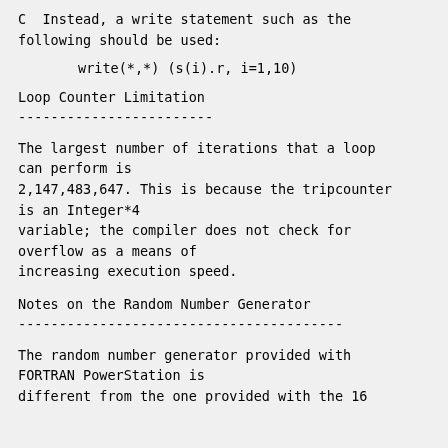C  Instead, a write statement such as the following should be used:
write(*,*) (s(i).r, i=1,10)
Loop Counter Limitation
The largest number of iterations that a loop can perform is 2,147,483,647. This is because the tripcounter is an Integer*4 variable; the compiler does not check for overflow as a means of increasing execution speed.
Notes on the Random Number Generator
The random number generator provided with FORTRAN PowerStation is different from the one provided with the 16